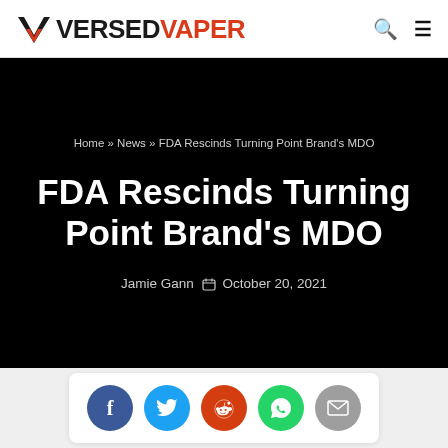Versed Vaper
Home » News » FDA Rescinds Turning Point Brand's MDO
FDA Rescinds Turning Point Brand's MDO
Jamie Gann  October 20, 2021
[Figure (other): Social share buttons: Facebook, Twitter, Reddit, WhatsApp, Email]